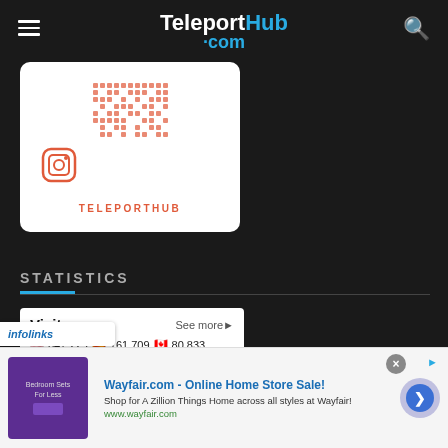TeleportHub.com
[Figure (other): Instagram QR code card with TELEPORTHUB label and Instagram icon, white card on dark background]
STATISTICS
Visitors  See more▶  🇺🇸 647,229  🇪🇸 161,709  🇨🇦 80,833  930  🇫🇷 153,661  🇷🇺 77,120
infolinks
Wayfair.com - Online Home Store Sale! Shop for A Zillion Things Home across all styles at Wayfair! www.wayfair.com